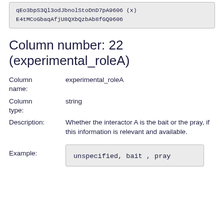qEo3bpS3Ql3odJbnolStoDnD7pA9606 (x)
E4tMCoGbaqAfjU8QXbQzbAb8fGQ9606
Column number: 22 (experimental_roleA)
| Property | Value |
| --- | --- |
| Column name: | experimental_roleA |
| Column type: | string |
| Description: | Whether the interactor A is the bait or the pray, if this information is relevant and available. |
Example:
unspecified, bait , pray